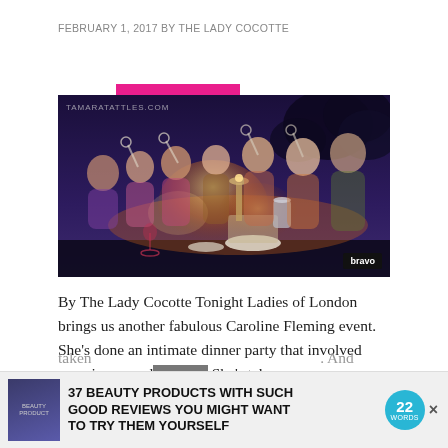FEBRUARY 1, 2017 BY THE LADY COCOTTE
25 COMMENTS
[Figure (photo): Outdoor candlelit dinner party at dusk with a group of women seated at a long table, raising wine glasses in a toast. Watermark: TAMARATATTLES.COM. Bravo logo bug in bottom right corner.]
By The Lady Cocotte Tonight Ladies of London brings us another fabulous Caroline Fleming event. She's done an intimate dinner party that involved gnawing on a d CLOSE She's taken  37 BEAUTY PRODUCTS WITH SUCH GOOD REVIEWS YOU MIGHT WANT TO TRY THEM YOURSELF  22 WORDS . And now sh party.